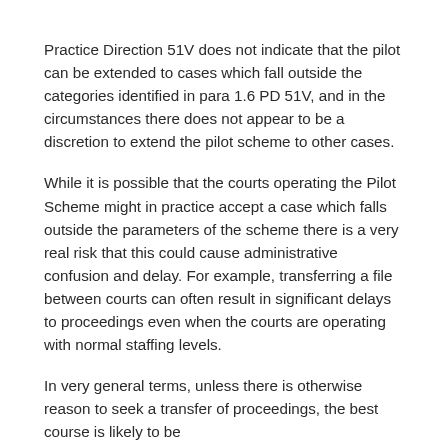Practice Direction 51V does not indicate that the pilot can be extended to cases which fall outside the categories identified in para 1.6 PD 51V, and in the circumstances there does not appear to be a discretion to extend the pilot scheme to other cases.
While it is possible that the courts operating the Pilot Scheme might in practice accept a case which falls outside the parameters of the scheme there is a very real risk that this could cause administrative confusion and delay. For example, transferring a file between courts can often result in significant delays to proceedings even when the courts are operating with normal staffing levels.
In very general terms, unless there is otherwise reason to seek a transfer of proceedings, the best course is likely to be